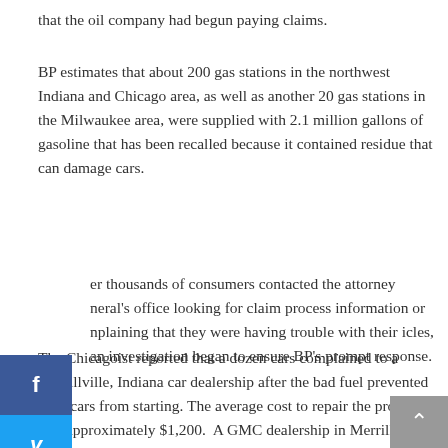that the oil company had begun paying claims.
BP estimates that about 200 gas stations in the northwest Indiana and Chicago area, as well as another 20 gas stations in the Milwaukee area, were supplied with 2.1 million gallons of gasoline that has been recalled because it contained residue that can damage cars.
er thousands of consumers contacted the attorney neral's office looking for claim process information or nplaining that they were having trouble with their icles, an investigation began to ensure BP's prompt response.
The Chicagoist reported that a dozen cars complained to a Merrillville, Indiana car dealership after the bad fuel prevented their cars from starting. The average cost to repair the problem was approximately $1,200. A GMC dealership in Merrillville also reported 30 vehicles